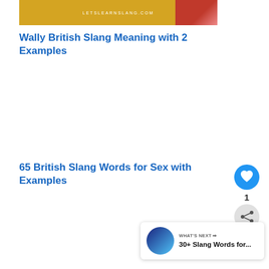[Figure (photo): Website banner image showing 'LETSLEARNSLANG.COM' on a golden background with a person in red checkered shirt]
Wally British Slang Meaning with 2 Examples
65 British Slang Words for Sex with Examples
1
[Figure (infographic): Heart/like button (blue circle with heart icon), share button (grey circle with share icon), count badge showing 1]
WHAT'S NEXT → 30+ Slang Words for...